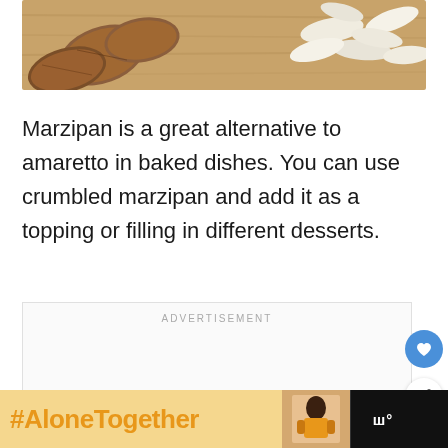[Figure (photo): Photo of whole almonds and sliced almonds on a wooden surface]
Marzipan is a great alternative to amaretto in baked dishes. You can use crumbled marzipan and add it as a topping or filling in different desserts.
[Figure (infographic): Advertisement placeholder box with ADVERTISEMENT label]
[Figure (infographic): Bottom banner advertisement showing #AloneTogether text in orange on yellow background with a woman in kitchen photo, close button, and logo]